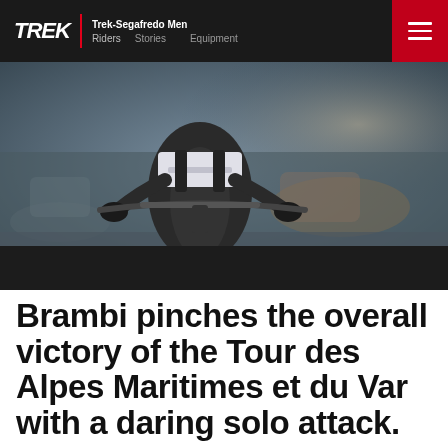TREK | Trek-Segafredo Men — Riders  Stories  Equipment
[Figure (photo): Cyclist seen from behind on a road bike, wearing black bib shorts and white jersey, holding handlebars with black gloves. Blurred urban background.]
Brambi pinches the overall victory of the Tour des Alpes Maritimes et du Var with a daring solo attack.